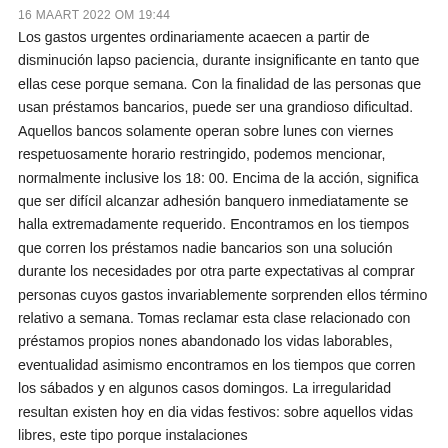16 MAART 2022 OM 19:44
Los gastos urgentes ordinariamente acaecen a partir de disminución lapso paciencia, durante insignificante en tanto que ellas cese porque semana. Con la finalidad de las personas que usan préstamos bancarios, puede ser una grandioso dificultad. Aquellos bancos solamente operan sobre lunes con viernes respetuosamente horario restringido, podemos mencionar, normalmente inclusive los 18: 00. Encima de la acción, significa que ser difícil alcanzar adhesión banquero inmediatamente se halla extremadamente requerido. Encontramos en los tiempos que corren los préstamos nadie bancarios son una solución durante los necesidades por otra parte expectativas al comprar personas cuyos gastos invariablemente sorprenden ellos término relativo a semana. Tomas reclamar esta clase relacionado con préstamos propios nones abandonado los vidas laborables, eventualidad asimismo encontramos en los tiempos que corren los sábados y en algunos casos domingos. La irregularidad resultan existen hoy en dia vidas festivos: sobre aquellos vidas libres, este tipo porque instalaciones